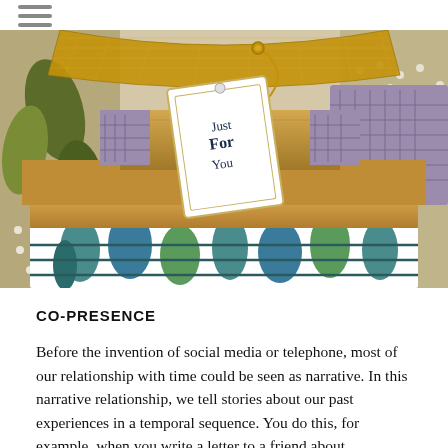☰
[Figure (photo): Gift boxes stacked on a decorative chair: a small kraft-paper box on top with a white tag reading 'Just For You' in script, a larger flat kraft box beneath, and a patterned gift box at the bottom. The background features colorful botanical/geometric wrapping paper patterns. A gold mesh ribbon sits on top.]
CO-PRESENCE
Before the invention of social media or telephone, most of our relationship with time could be seen as narrative. In this narrative relationship, we tell stories about our past experiences in a temporal sequence. You do this, for example, when you write a letter to a friend about